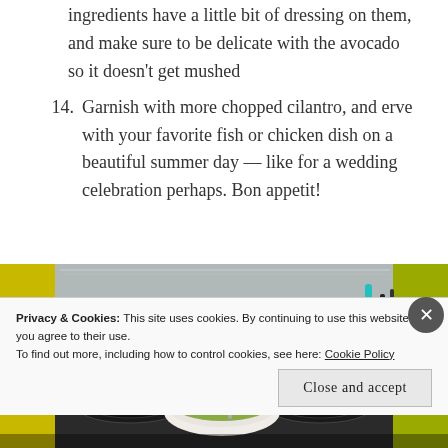ingredients have a little bit of dressing on them, and make sure to be delicate with the avocado so it doesn't get mushed
14. Garnish with more chopped cilantro, and erve with your favorite fish or chicken dish on a beautiful summer day — like for a wedding celebration perhaps. Bon appetit!
[Figure (photo): A gas stove with a metal backsplash, a bowl of green salad/guacamole mixture with a spoon, and kitchen utensils in a container on the right, with yellow walls visible.]
Privacy & Cookies: This site uses cookies. By continuing to use this website, you agree to their use.
To find out more, including how to control cookies, see here: Cookie Policy
Close and accept